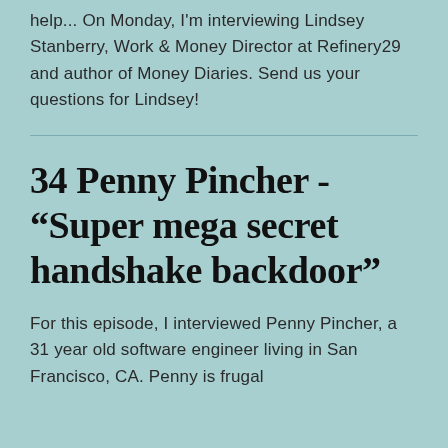help... On Monday, I'm interviewing Lindsey Stanberry, Work & Money Director at Refinery29 and author of Money Diaries. Send us your questions for Lindsey!
34 Penny Pincher - "Super mega secret handshake backdoor"
For this episode, I interviewed Penny Pincher, a 31 year old software engineer living in San Francisco, CA. Penny is frugal